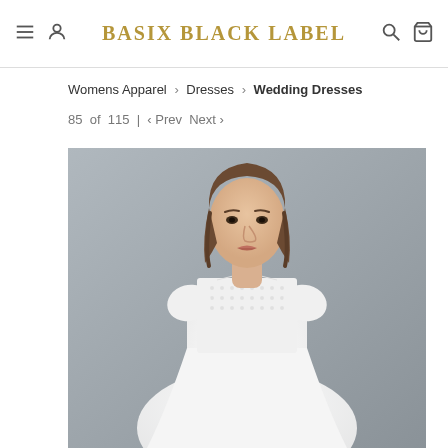BASIX BLACK LABEL
Womens Apparel › Dresses › Wedding Dresses
85 of 115 | ‹ Prev  Next ›
[Figure (photo): A female model wearing a white wedding dress with a lace bodice featuring cap sleeves and a scoop neckline, photographed against a neutral gray background.]